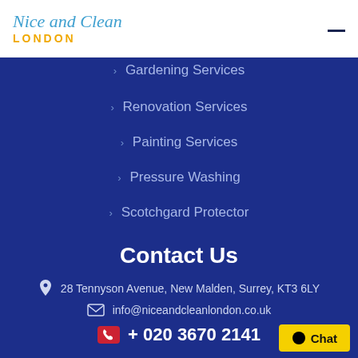Nice and Clean LONDON
Gardening Services
Renovation Services
Painting Services
Pressure Washing
Scotchgard Protector
Contact Us
28 Tennyson Avenue, New Malden, Surrey, KT3 6LY
info@niceandcleanlondon.co.uk
+ 020 3670 2141